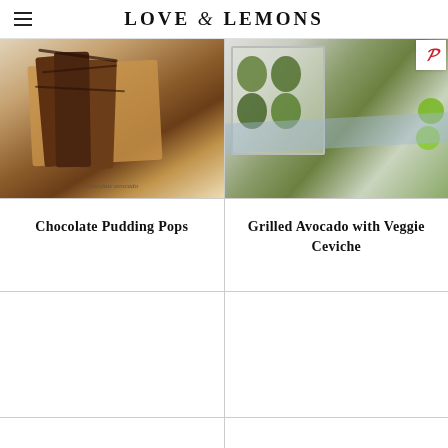LOVE & LEMONS
[Figure (photo): Chocolate pudding pops on a wooden board with chocolate drizzle and gold sprinkles, overhead view]
[Figure (photo): Grilled avocado halves filled with veggie ceviche in a white baking dish, with limes and blue cloth, overhead view. Pinterest save button in top right corner.]
Chocolate Pudding Pops
Grilled Avocado with Veggie Ceviche